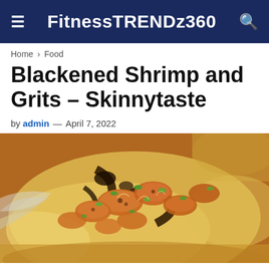FitnessTRENDz360
Home > Food
Blackened Shrimp and Grits – Skinnytaste
by admin — April 7, 2022
[Figure (photo): Close-up photo of blackened shrimp served over creamy grits, garnished with sliced green onions and a dark sauce drizzle, in a grey bowl.]